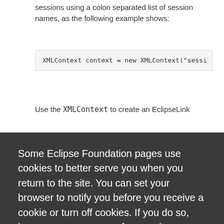sessions using a colon separated list of session names, as the following example shows:
Use the XMLContext to create an EclipseLink
Some Eclipse Foundation pages use cookies to better serve you when you return to the site. You can set your browser to notify you before you receive a cookie or turn off cookies. If you do so, however, some areas of some sites may not function properly. To read Eclipse Foundation Privacy Policy click here.
Decline
Allow cookies